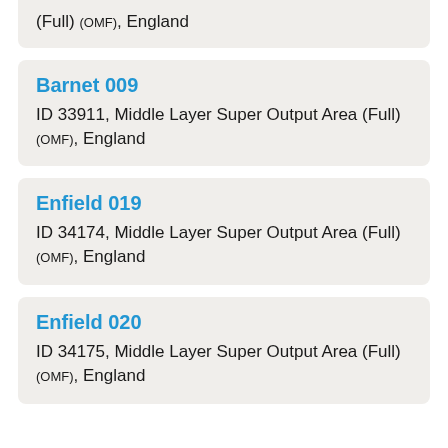(Full) (OMF), England
Barnet 009
ID 33911, Middle Layer Super Output Area (Full) (OMF), England
Enfield 019
ID 34174, Middle Layer Super Output Area (Full) (OMF), England
Enfield 020
ID 34175, Middle Layer Super Output Area (Full) (OMF), England